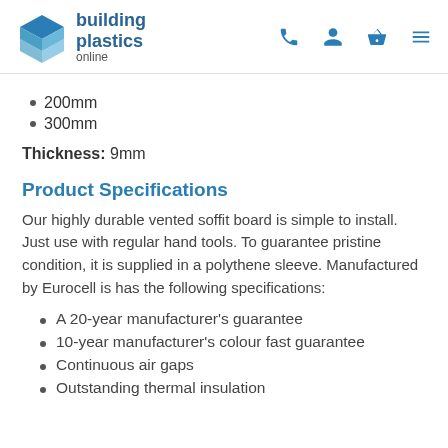building plastics online
200mm
300mm
Thickness: 9mm
Product Specifications
Our highly durable vented soffit board is simple to install. Just use with regular hand tools. To guarantee pristine condition, it is supplied in a polythene sleeve. Manufactured by Eurocell is has the following specifications:
A 20-year manufacturer's guarantee
10-year manufacturer's colour fast guarantee
Continuous air gaps
Outstanding thermal insulation